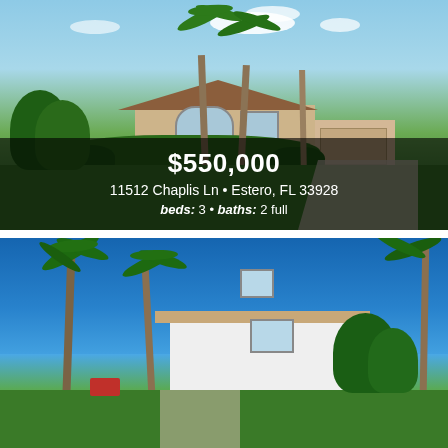[Figure (photo): Exterior photo of a single-story Florida home with palm trees, lush green landscaping, curved driveway, and blue sky with clouds. Stucco facade with tile roof and attached garage.]
$550,000
11512 Chaplis Ln • Estero, FL 33928
beds: 3 • baths: 2 full
[Figure (photo): Exterior photo of a white two-story Florida home with palm trees, bright blue sky, and tropical landscaping.]